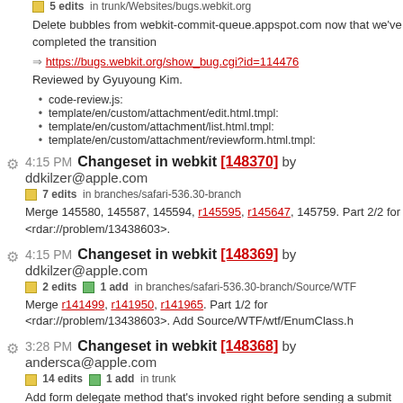5 edits in trunk/Websites/bugs.webkit.org
Delete bubbles from webkit-commit-queue.appspot.com now that we've completed the transition
https://bugs.webkit.org/show_bug.cgi?id=114476
Reviewed by Gyuyoung Kim.
code-review.js:
template/en/custom/attachment/edit.html.tmpl:
template/en/custom/attachment/list.html.tmpl:
template/en/custom/attachment/reviewform.html.tmpl:
4:15 PM Changeset in webkit [148370] by ddkilzer@apple.com
7 edits in branches/safari-536.30-branch
Merge 145580, 145587, 145594, r145595, r145647, 145759. Part 2/2 for <rdar://problem/13438603>.
4:15 PM Changeset in webkit [148369] by ddkilzer@apple.com
2 edits  1 add  in branches/safari-536.30-branch/Source/WTF
Merge r141499, r141950, r141965. Part 1/2 for <rdar://problem/13438603>. Add Source/WTF/wtf/EnumClass.h
3:28 PM Changeset in webkit [148368] by andersca@apple.com
14 edits  1 add  in trunk
Add form delegate method that's invoked right before sending a submit event